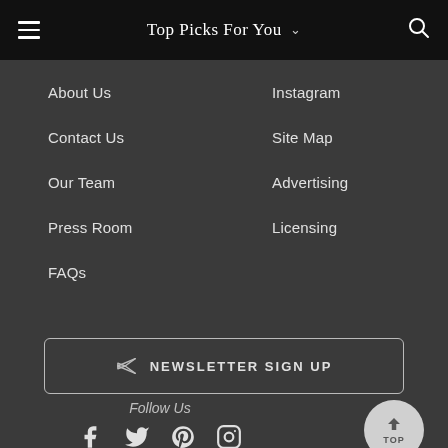Top Picks For You
About Us
Instagram
Contact Us
Site Map
Our Team
Advertising
Press Room
Licensing
FAQs
NEWSLETTER SIGN UP
Follow Us
[Figure (infographic): Social media icons: Facebook, Twitter, Pinterest, Instagram]
TOP